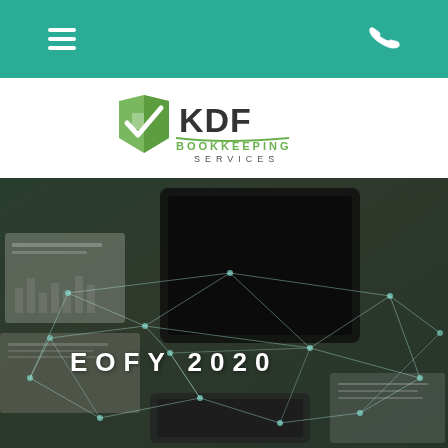Navigation bar with hamburger menu and phone icon
[Figure (logo): KDF Bookkeeping Services logo with green book/checkmark icon and text 'KDF BOOKKEEPING SERVICES']
[Figure (photo): Dark background hero image showing a desk with tablet, financial charts, and a geometric network/polygon overlay. Text 'EOFY 2020' displayed in white with letter-spacing.]
EOFY 2020